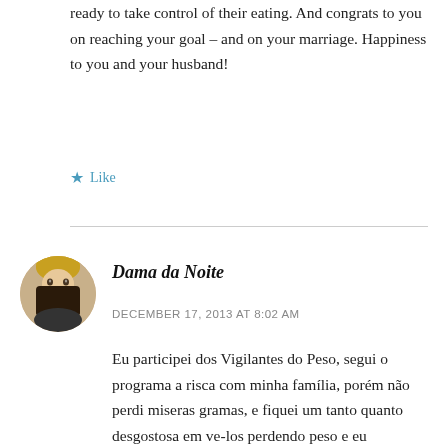ready to take control of their eating. And congrats to you on reaching your goal – and on your marriage. Happiness to you and your husband!
★ Like
Dama da Noite
DECEMBER 17, 2013 AT 8:02 AM
Eu participei dos Vigilantes do Peso, segui o programa a risca com minha família, porém não perdi miseras gramas, e fiquei um tanto quanto desgostosa em ve-los perdendo peso e eu